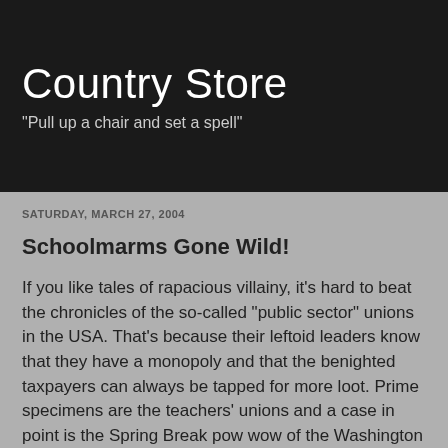Country Store
"Pull up a chair and set a spell"
SATURDAY, MARCH 27, 2004
Schoolmarms Gone Wild!
If you like tales of rapacious villainy, it's hard to beat the chronicles of the so-called "public sector" unions in the USA. That's because their leftoid leaders know that they have a monopoly and that the benighted taxpayers can always be tapped for more loot. Prime specimens are the teachers' unions and a case in point is the Spring Break pow wow of the Washington (State) Educators Association. When the "educators" took time out from the fleshpots of Spokane,